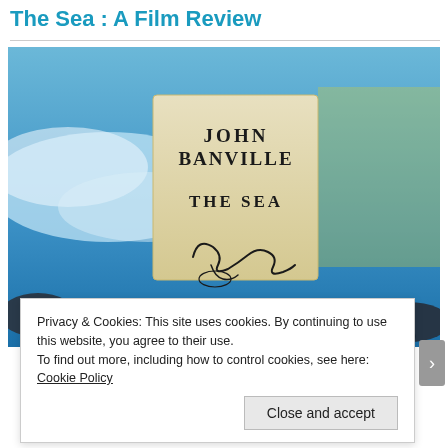The Sea : A Film Review
[Figure (photo): Book cover of 'The Sea' by John Banville, showing the author's name and title on a cream-colored inset card with an author signature, set against a background of ocean waves and dark rounded stones on a beach.]
Privacy & Cookies: This site uses cookies. By continuing to use this website, you agree to their use.
To find out more, including how to control cookies, see here: Cookie Policy
Close and accept